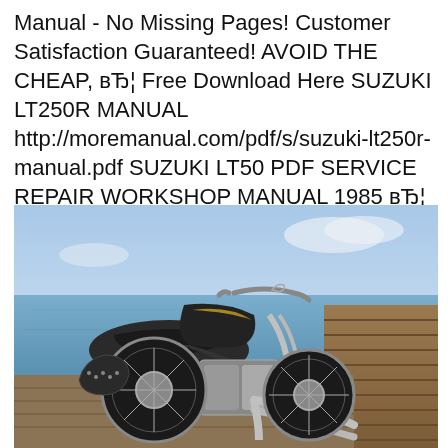Manual - No Missing Pages! Customer Satisfaction Guaranteed! AVOID THE CHEAP, вЂ¦ Free Download Here SUZUKI LT250R MANUAL http://moremanual.com/pdf/s/suzuki-lt250r-manual.pdf SUZUKI LT50 PDF SERVICE REPAIR WORKSHOP MANUAL 1985 вЂ¦
[Figure (photo): A cruiser-style motorcycle (Suzuki) parked on a wooden dock/pier with a body of water and blue sky in the background. The motorcycle is dark colored with chrome exhaust pipes and spoke wheels.]